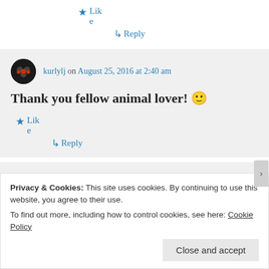★ Like
↳ Reply
kurlylj on August 25, 2016 at 2:40 am
Thank you fellow animal lover! 🙂
★ Like
↳ Reply
Privacy & Cookies: This site uses cookies. By continuing to use this website, you agree to their use.
To find out more, including how to control cookies, see here: Cookie Policy
Close and accept